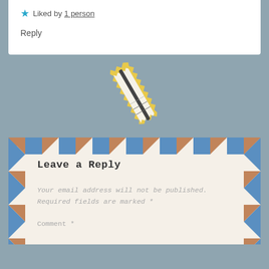★ Liked by 1 person
Reply
[Figure (illustration): A stylized pencil tip/shaving illustration with yellow/gold zigzag border and white/dark interior, shown at an angle against a steel blue background]
Leave a Reply
Your email address will not be published. Required fields are marked *
Comment *